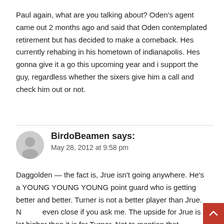Paul again, what are you talking about? Oden's agent came out 2 months ago and said that Oden contemplated retirement but has decided to make a comeback. Hes currently rehabing in his hometown of indianapolis. Hes gonna give it a go this upcoming year and i support the guy, regardless whether the sixers give him a call and check him out or not.
BirdoBeamen says:
May 28, 2012 at 9:58 pm
Daggolden — the fact is, Jrue isn't going anywhere. He's a YOUNG YOUNG YOUNG point guard who is getting better and better. Turner is not a better player than Jrue. Not even close if you ask me. The upside for Jrue is a lot higher than it is for Turner. Not to mention that...